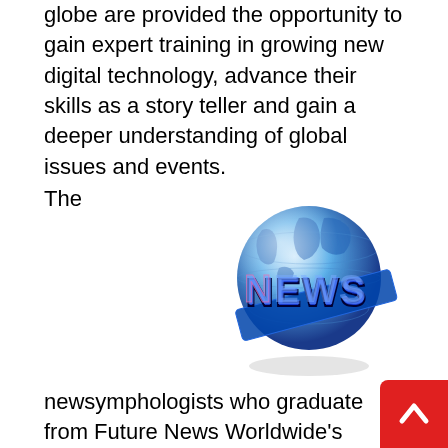globe are provided the opportunity to gain expert training in growing new digital technology, advance their skills as a story teller and gain a deeper understanding of global issues and events. The newsymphologists who graduate from Future News Worldwide's International Student Program are then offered a number of industry recognised placement opportunities with top UK based companies. Participating companies include BICE, BBC Worldwide and Accenture. This prestigious and comprehensive six month intensive multimedia programme provides students with the unique opportunity to become a part of one of the leading media organisations in the world whilst experiencing firsthand the continuous growth online media in both the digital and traditional sectors.
[Figure (illustration): 3D globe illustration with 'NEWS' text overlaid in bold 3D letters, globe showing Earth with blue ocean and continents]